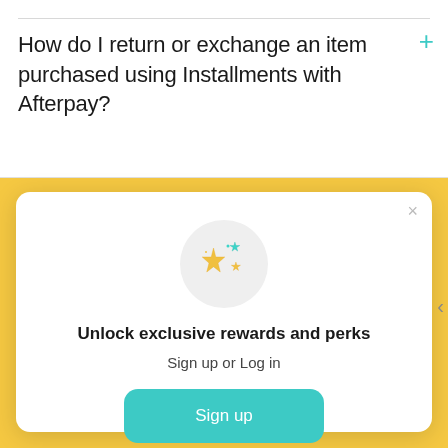How do I return or exchange an item purchased using Installments with Afterpay?
[Figure (illustration): Modal popup with sparkle/star emoji icon in a light gray circle]
Unlock exclusive rewards and perks
Sign up or Log in
Sign up
Already have an account? Sign in